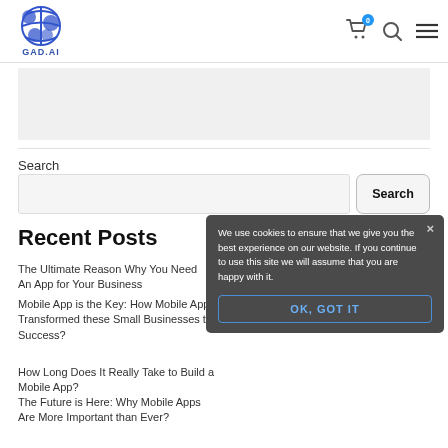GAD.AI navigation header with logo, cart icon (badge: 0), search icon, menu icon
[Figure (logo): GAD.AI globe logo with blue circular design and text GAD.AI below]
Search
Search button
Recent Posts
The Ultimate Reason Why You Need An App for Your Business
Mobile App is the Key: How Mobile App Transformed these Small Businesses to Success?
How Long Does It Really Take to Build a Mobile App?
The Future is Here: Why Mobile Apps Are More Important than Ever?
We use cookies to ensure that we give you the best experience on our website. If you continue to use this site we will assume that you are happy with it.
OK, GOT IT